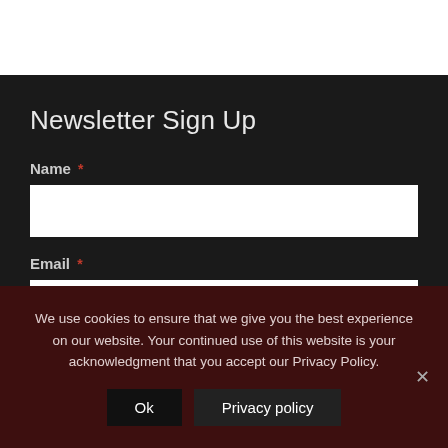Newsletter Sign Up
Name *
Email *
We use cookies to ensure that we give you the best experience on our website. Your continued use of this website is your acknowledgment that you accept our Privacy Policy.
Ok
Privacy policy